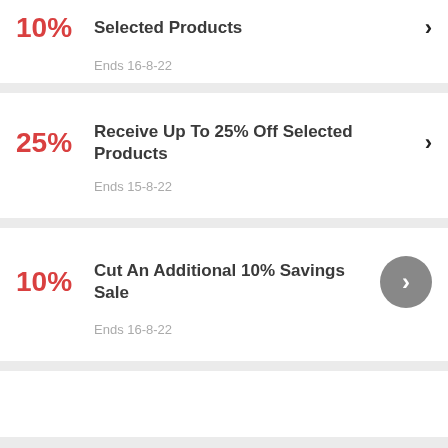10% off Selected Products — Ends 16-8-22 (partial, top card cut off)
25% — Receive Up To 25% Off Selected Products — Ends 15-8-22
10% — Cut An Additional 10% Savings Sale — Ends 16-8-22
(partial card at bottom)